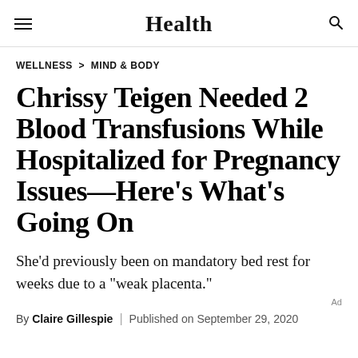Health
WELLNESS > MIND & BODY
Chrissy Teigen Needed 2 Blood Transfusions While Hospitalized for Pregnancy Issues—Here's What's Going On
She'd previously been on mandatory bed rest for weeks due to a "weak placenta."
By Claire Gillespie | Published on September 29, 2020